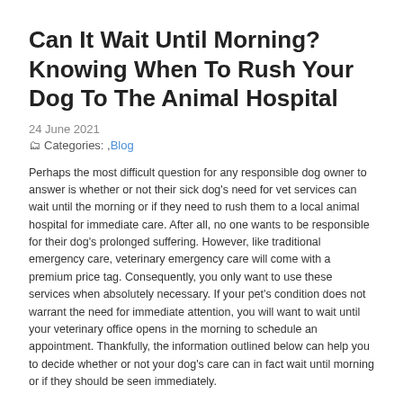Can It Wait Until Morning? Knowing When To Rush Your Dog To The Animal Hospital
24 June 2021
Categories: , Blog
Perhaps the most difficult question for any responsible dog owner to answer is whether or not their sick dog's need for vet services can wait until the morning or if they need to rush them to a local animal hospital for immediate care. After all, no one wants to be responsible for their dog's prolonged suffering. However, like traditional emergency care, veterinary emergency care will come with a premium price tag. Consequently, you only want to use these services when absolutely necessary. If your pet's condition does not warrant the need for immediate attention, you will want to wait until your veterinary office opens in the morning to schedule an appointment. Thankfully, the information outlined below can help you to decide whether or not your dog's care can in fact wait until morning or if they should be seen immediately.
Your Dog Is Lethargic